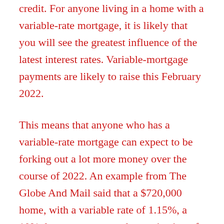credit. For anyone living in a home with a variable-rate mortgage, it is likely that you will see the greatest influence of the latest interest rates. Variable-mortgage payments are likely to raise this February 2022.
This means that anyone who has a variable-rate mortgage can expect to be forking out a lot more money over the course of 2022. An example from The Globe And Mail said that a $720,000 home, with a variable rate of 1.15%, a 10% down payment, and amortization of 25 years, would have a $2,762 monthly payment. A rate increase of a quarter of a percentage point would change the same monthly payment of $2,762 to $2,844. Thus, signifying